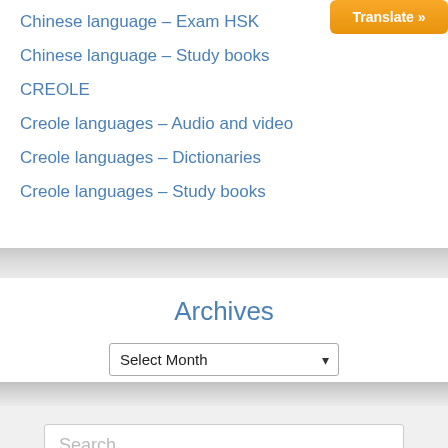Chinese language – Exam HSK
Chinese language – Study books
CREOLE
Creole languages – Audio and video
Creole languages – Dictionaries
Creole languages – Study books
[Figure (screenshot): Orange Translate button in top right corner]
Archives
Select Month dropdown
Search ...